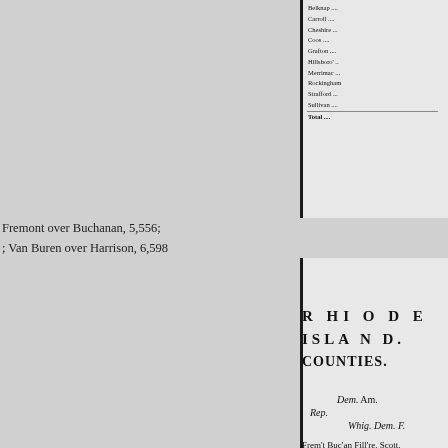| County |  |
| --- | --- |
| Belknap... |  |
| Carroll... |  |
| Cheshire... |  |
| Coos... |  |
| Grafton... |  |
| Hillsboro'... |  |
| Merrimac... |  |
| Rockingham... |  |
| Strafford... |  |
| Sullivan... |  |
| Total... |  |
Fremont over Buchanan, 5,556; Van Buren over Harrison, 6,598
R HI O D E  ISLA N D.  COUNTIES.
Dem. Am.  Rep.  Whig. Dem. F.
Frem't Buc'an Fill're. Scott.
Bristol...
Kent.
Newport...